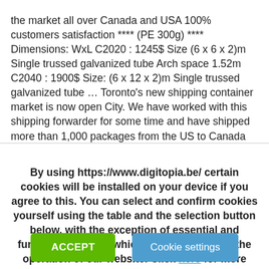the market all over Canada and USA 100% customers satisfaction **** (PE 300g) **** Dimensions: WxL C2020 : 1245$ Size (6 x 6 x 2)m Single trussed galvanized tube Arch space 1.52m C2040 : 1900$ Size: (6 x 12 x 2)m Single trussed galvanized tube … Toronto's new shipping container market is now open City. We have worked with this shipping forwarder for some time and have shipped more than 1,000 packages from the US to Canada and feel that MyUS.com is unquestionably the best option for delivering your Container Store order. If you are using a screen reader and are having problems using this website, please call 888-266-8246 for More. Get A Quote Now Let Us Know How Can We Help You (905) 695
By using https://www.digitopia.be/ certain cookies will be installed on your device if you agree to this. You can select and confirm cookies yourself using the table and the selection button below, with the exception of essential and functional cookies which are necessary for the operation of our website. Click here for more information on Digitopia's cookie policy.